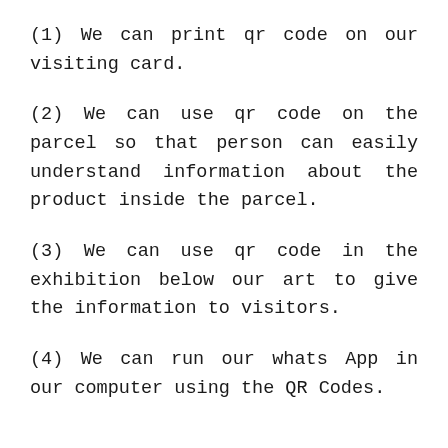(1) We can print qr code on our visiting card.
(2) We can use qr code on the parcel so that person can easily understand information about the product inside the parcel.
(3) We can use qr code in the exhibition below our art to give the information to visitors.
(4) We can run our whats App in our computer using the QR Codes.